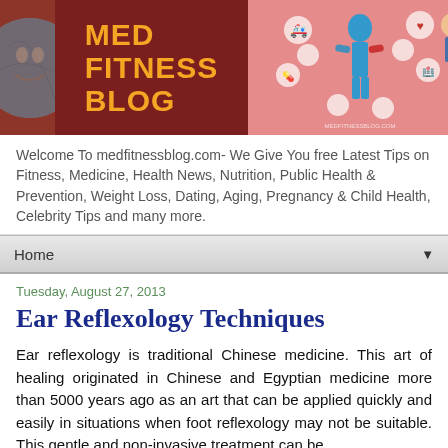[Figure (illustration): Med Fitness Blog banner with logo showing globe, orange text 'MED FITNESS BLOG' on dark red background, and medical/fitness themed graphics on right side]
Welcome To medfitnessblog.com- We Give You free Latest Tips on Fitness, Medicine, Health News, Nutrition, Public Health & Prevention, Weight Loss, Dating, Aging, Pregnancy & Child Health, Celebrity Tips and many more.
Home ▼
Tuesday, August 27, 2013
Ear Reflexology Techniques
Ear reflexology is traditional Chinese medicine. This art of healing originated in Chinese and Egyptian medicine more than 5000 years ago as an art that can be applied quickly and easily in situations when foot reflexology may not be suitable. This gentle and non-invasive treatment can be